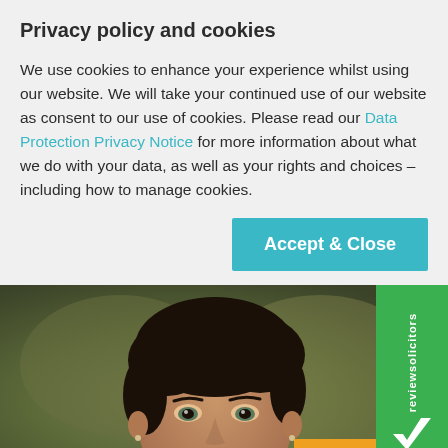Privacy policy and cookies
We use cookies to enhance your experience whilst using our website. We will take your continued use of our website as consent to our use of cookies. Please read our Data Protection Privacy Notice for more information about what we do with your data, as well as your rights and choices – including how to manage cookies.
Accept & Close
[Figure (photo): Close-up photo of a woman with dark hair pulled back, smiling slightly, with a blurred outdoor background. A green 'reviewsolicitors' badge is visible on the right side. An orange 'Chat n' button appears at the bottom right.]